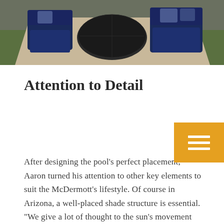[Figure (photo): Aerial/overhead view of outdoor patio furniture with navy blue cushioned chairs and a decorative metal table, on a patio with green lawn in background]
Attention to Detail
After designing the pool's perfect placement, Aaron turned his attention to other key elements to suit the McDermott's lifestyle. Of course in Arizona, a well-placed shade structure is essential. "We give a lot of thought to the sun's movement when planning shade structures," Aaron says. "I'm always trying to place that shade structure on the side that is going to create the most shade as the afternoon progresses. If you think about the traditional walled backyard, if that ramada was put on the furthest side of the yard, when the sun comes up, all you would do is shade the wall